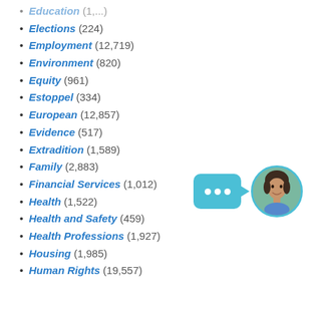Education (1,...)
Elections (224)
Employment (12,719)
Environment (820)
Equity (961)
Estoppel (334)
European (12,857)
Evidence (517)
Extradition (1,589)
Family (2,883)
Financial Services (1,012)
Health (1,522)
Health and Safety (459)
Health Professions (1,927)
Housing (1,985)
Human Rights (19,557)
[Figure (illustration): Chat widget with speech bubble containing three dots and a circular avatar photo of a woman]